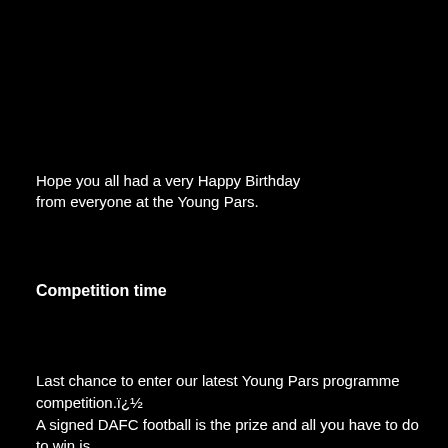Hope you all had a very Happy Birthday from everyone at the Young Pars.
Competition time
Last chance to enter our latest Young Pars programme competition.ï¿½ A signed DAFC football is the prize and all you have to do to win is answer the following question.
ï¿½ Which former Pars player is the manager of St Mirren?
Send your answers to Helen Beard,